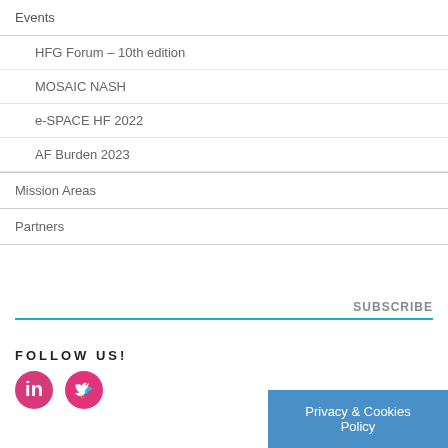Events
HFG Forum – 10th edition
MOSAIC NASH
e-SPACE HF 2022
AF Burden 2023
Mission Areas
Partners
SUBSCRIBE
FOLLOW US!
[Figure (logo): LinkedIn circle icon (pink/red)]
[Figure (logo): Twitter circle icon (pink/red)]
Privacy & Cookies Policy